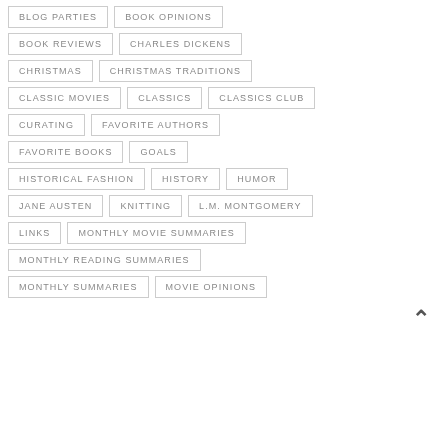BLOG PARTIES
BOOK OPINIONS
BOOK REVIEWS
CHARLES DICKENS
CHRISTMAS
CHRISTMAS TRADITIONS
CLASSIC MOVIES
CLASSICS
CLASSICS CLUB
CURATING
FAVORITE AUTHORS
FAVORITE BOOKS
GOALS
HISTORICAL FASHION
HISTORY
HUMOR
JANE AUSTEN
KNITTING
L.M. MONTGOMERY
LINKS
MONTHLY MOVIE SUMMARIES
MONTHLY READING SUMMARIES
MONTHLY SUMMARIES
MOVIE OPINIONS